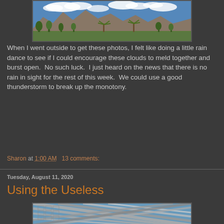[Figure (photo): Panoramic landscape photo showing mountains, trees (including palm trees), and a partly cloudy blue sky in what appears to be a desert Southwest location.]
When I went outside to get these photos, I felt like doing a little rain dance to see if I could encourage these clouds to meld together and burst open.  No such luck.  I just heard on the news that there is no rain in sight for the rest of this week.  We could use a good thunderstorm to break up the monotony.
Sharon at 1:00 AM   13 comments:
Tuesday, August 11, 2020
Using the Useless
[Figure (photo): Photo showing an architectural metal lattice or mesh structure overhead against a blue sky, shot from below looking up.]